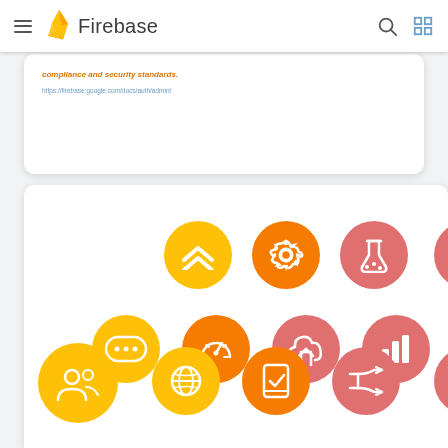Firebase
compliance and security standards.
[Figure (screenshot): Firebase documentation page showing a navigation bar with hamburger menu, Firebase flame logo and wordmark, search icon, and grid icon. Below are two white cards on a light gray background. The top card is partially visible with italic orange text 'compliance and security standards.' and a blue URL. The second card shows a grid of circular icon buttons in yellow (#FFC107), orange (#F57C00), and salmon/coral (#E88080) colors. Row 1 (partial): chevron-up icon (yellow), gear/settings icon (orange), flask/lab icon (coral), and a partial circle. Row 2: ellipsis/code icon (yellow), speedometer/dashboard icon (orange), cloud-upload icon (coral), bar-chart icon (coral). Row 3: group/users icon (yellow), globe icon (yellow), mobile-check icon (orange), arrow-split icon (coral), and a partial circle.]